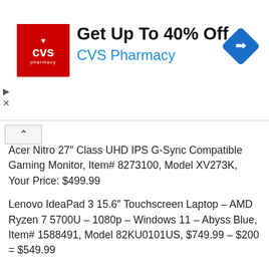[Figure (other): CVS Pharmacy advertisement banner with red CVS logo, text 'Get Up To 40% Off CVS Pharmacy', blue navigation arrow diamond icon on right, and small expand/close arrows on left]
Acer Nitro 27″ Class UHD IPS G-Sync Compatible Gaming Monitor, Item# 8273100, Model XV273K, Your Price: $499.99
Lenovo IdeaPad 3 15.6″ Touchscreen Laptop – AMD Ryzen 7 5700U – 1080p – Windows 11 – Abyss Blue, Item# 1588491, Model 82KU0101US, $749.99 – $200 = $549.99
4th Gen Apple iPad Air 64GB, Item# 1491024, Model MYFR2LL/A, $569.99 – $100 = $469.99
Samsung 27″ Class CF39 Series FHD FreeSync Curved Monitor, Item# 1200689, Model LC27F391FHNXZA